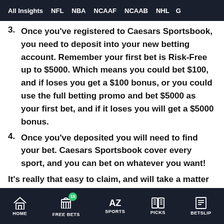All Insights  NFL  NBA  NCAAF  NCAAB  NHL  G
3. Once you've registered to Caesars Sportsbook, you need to deposit into your new betting account. Remember your first bet is Risk-Free up to $5000. Which means you could bet $100, and if loses you get a $100 bonus, or you could use the full betting promo and bet $5000 as your first bet, and if it loses you will get a $5000 bonus.
4. Once you've deposited you will need to find your bet. Caesars Sportsbook cover every sport, and you can bet on whatever you want!
It's really that easy to claim, and will take a matter of minutes!
HOME  FREE BETS  SPORTS  PICKS  BETSLIP